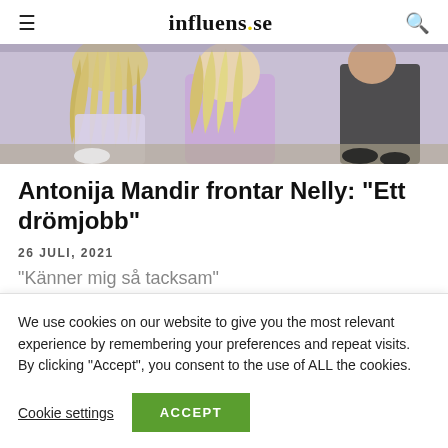influens.se
[Figure (photo): Cropped photo of people standing/crouching, one person wearing a lavender/purple top with long blonde hair, another in dark clothing on the right.]
Antonija Mandir frontar Nelly: “Ett drömjobb”
26 JULI, 2021
“Känner mig så tacksam”
We use cookies on our website to give you the most relevant experience by remembering your preferences and repeat visits. By clicking “Accept”, you consent to the use of ALL the cookies.
Cookie settings   ACCEPT